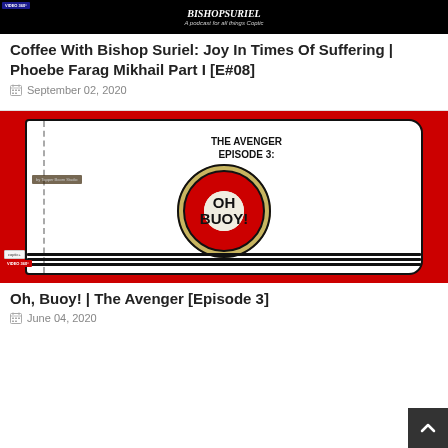[Figure (screenshot): BishopSuriel podcast thumbnail - dark background with title text and subtitle 'A podcast for all things Coptic', VIDEO 360 badge]
Coffee With Bishop Suriel: Joy In Times Of Suffering | Phoebe Farag Mikhail Part I [E#08]
September 02, 2020
[Figure (illustration): The Avenger Episode 3: Oh Buoy! - Red background with illustrated book and life preserver/buoy graphic, VIDEO 360 badge, coptic logo]
Oh, Buoy! | The Avenger [Episode 3]
June 04, 2020